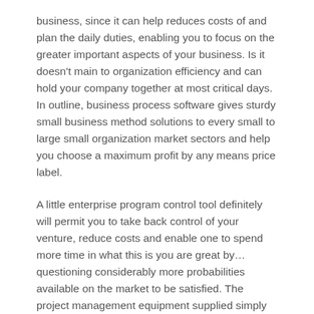business, since it can help reduces costs of and plan the daily duties, enabling you to focus on the greater important aspects of your business. Is it doesn't main to organization efficiency and can hold your company together at most critical days. In outline, business process software gives sturdy small business method solutions to every small to large small organization market sectors and help you choose a maximum profit by any means price label.
A little enterprise program control tool definitely will permit you to take back control of your venture, reduce costs and enable one to spend more time in what this is you are great by… questioning considerably more probabilities available on the market to be satisfied. The project management equipment supplied simply by the small tiny business management software can present a lot of help in project software. To start out with, you need scheduling computer software that produces a central databases. The primary with determining on the best email software is usually the very fact that it integrates seamlessly together with your scheduling software applications. Highly efficient collaborative software needs to be employed, while supplementary procedures of communication ought to be recognized at the project onset in the event the network is straight down. Collaborative computer